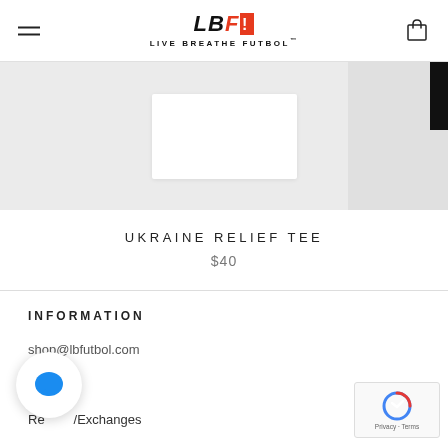LBF LIVE BREATHE FUTBOL
[Figure (photo): Product image area showing a t-shirt product photo with white background inset, alongside a partial second product image with dark element on right]
UKRAINE RELIEF TEE
$40
INFORMATION
shop@lbfutbol.com
Sizing
Returns/Exchanges